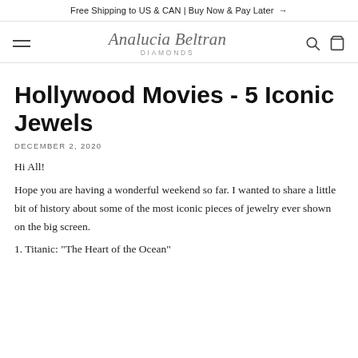Free Shipping to US & CAN | Buy Now & Pay Later →
[Figure (logo): Analucia Beltran Diamonds logo with script wordmark and 'DIAMONDS' subtitle, hamburger menu icon on left, search and bag icons on right]
Hollywood Movies - 5 Iconic Jewels
DECEMBER 2, 2020
Hi All!
Hope you are having a wonderful weekend so far. I wanted to share a little bit of history about some of the most iconic pieces of jewelry ever shown on the big screen.
1. Titanic: "The Heart of the Ocean"